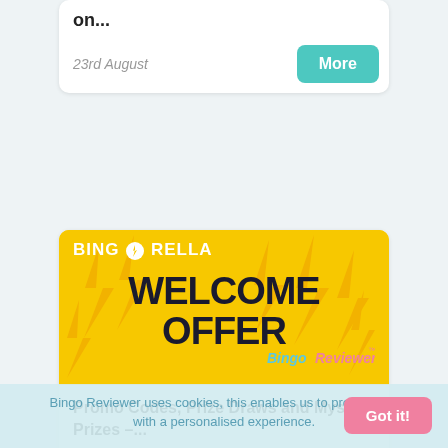on...
23rd August
[Figure (illustration): Bingorella Welcome Offer promotional banner with yellow background, lightning bolt graphics, BINGORELLA logo at top left, large bold text reading WELCOME OFFER in the center, and Bingo Reviewer branding at bottom right]
Promo Codes, Prize Draws and Mystery Prizes –...
16th August
Bingo Reviewer uses cookies, this enables us to provide you with a personalised experience.